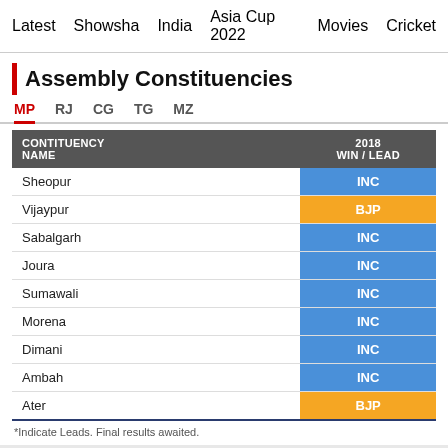Latest   Showsha   India   Asia Cup 2022   Movies   Cricket
Assembly Constituencies
MP   RJ   CG   TG   MZ
| CONTITUENCY NAME | 2018 WIN / LEAD |
| --- | --- |
| Sheopur | INC |
| Vijaypur | BJP |
| Sabalgarh | INC |
| Joura | INC |
| Sumawali | INC |
| Morena | INC |
| Dimani | INC |
| Ambah | INC |
| Ater | BJP |
*Indicate Leads. Final results awaited.
DETAILED RESULTS [+]